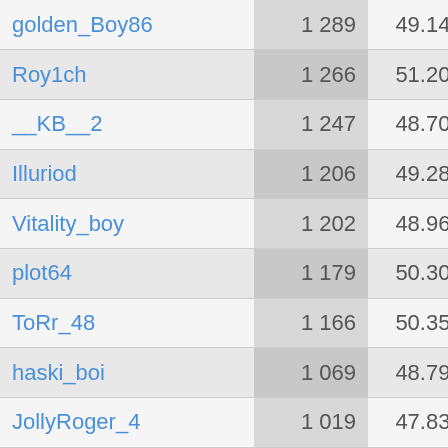| Name | Score | Win% |  |
| --- | --- | --- | --- |
| golden_Boy86 | 1 289 | 49.14% | 1 |
| Roy1ch | 1 266 | 51.20% | 1 |
| __KB__2 | 1 247 | 48.70% |  |
| Illuriod | 1 206 | 49.28% | 1 |
| Vitality_boy | 1 202 | 48.96% | 1 |
| plot64 | 1 179 | 50.30% |  |
| ToRr_48 | 1 166 | 50.35% |  |
| haski_boi | 1 069 | 48.79% |  |
| JollyRoger_4 | 1 019 | 47.83% |  |